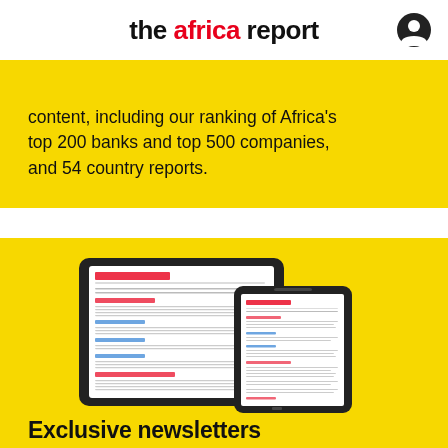the africa report
content, including our ranking of Africa's top 200 banks and top 500 companies, and 54 country reports.
[Figure (illustration): Tablet and smartphone displaying The Africa Report newsletter interface on a yellow background]
Exclusive newsletters